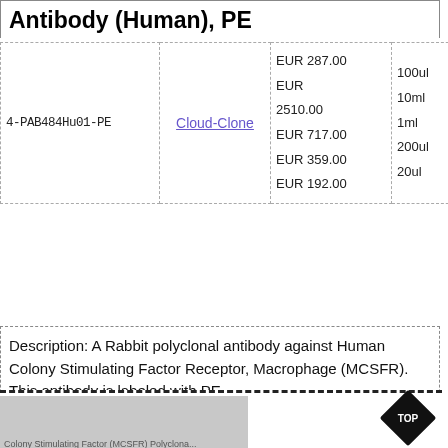Antibody (Human), PE
| SKU | Vendor | Price | Size |
| --- | --- | --- | --- |
| 4-PAB484Hu01-PE | Cloud-Clone | EUR 287.00
EUR 2510.00
EUR 717.00
EUR 359.00
EUR 192.00 | 100ul
10ml
1ml
200ul
20ul |
Description: A Rabbit polyclonal antibody against Human Colony Stimulating Factor Receptor, Macrophage (MCSFR). This antibody is labeled with PE.
[Figure (photo): Partial view of a product image or chart for Colony Stimulating Factor (MCSFR) Polyclonal antibody, shown in greyscale with text label visible at the bottom-left. A diamond-shaped 'TOP' badge appears at the bottom-right.]